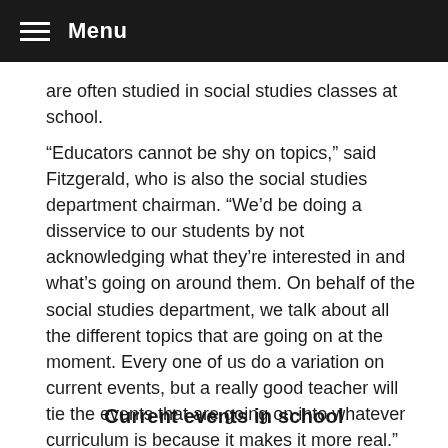Menu
are often studied in social studies classes at school.
“Educators cannot be shy on topics,” said Fitzgerald, who is also the social studies department chairman. “We’d be doing a disservice to our students by not acknowledging what they’re interested in and what’s going on around them. On behalf of the social studies department, we talk about all the different topics that are going on at the moment. Every one of us do a variation on current events, but a really good teacher will tie the events that are going on into whatever curriculum is because it makes it more real.”
Current events in school